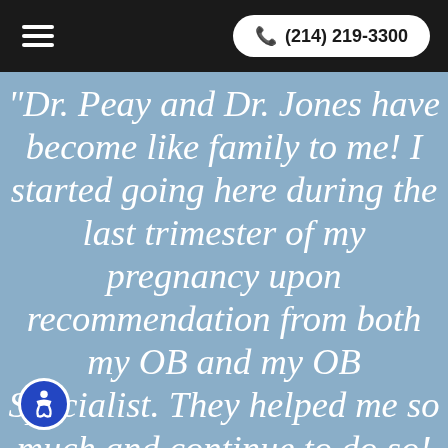(214) 219-3300
"Dr. Peay and Dr. Jones have become like family to me! I started going here during the last trimester of my pregnancy upon recommendation from both my OB and my OB Specialist. They helped me so much and continue to do so! I highly